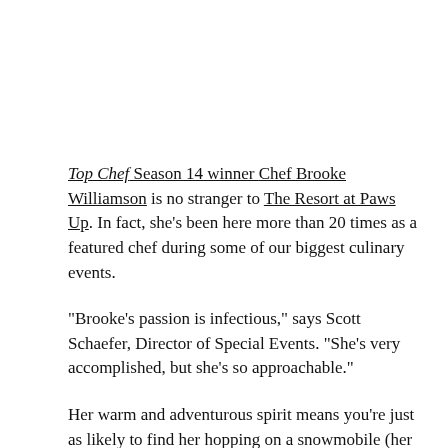Top Chef Season 14 winner Chef Brooke Williamson is no stranger to The Resort at Paws Up. In fact, she's been here more than 20 times as a featured chef during some of our biggest culinary events.
"Brooke's passion is infectious," says Scott Schaefer, Director of Special Events. "She's very accomplished, but she's so approachable."
Her warm and adventurous spirit means you're just as likely to find her hopping on a snowmobile (her favorite wintertime activity) as you are cooking in the kitchen.